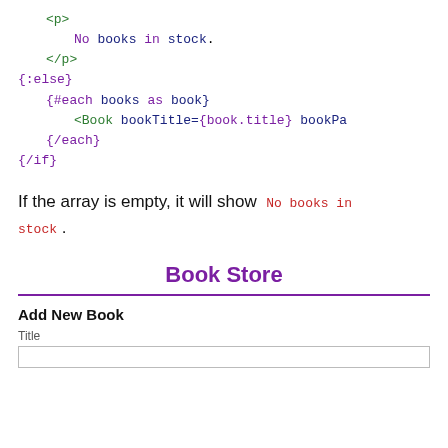<p>
    No books in stock.
</p>
{:else}
    {#each books as book}
        <Book bookTitle={book.title} bookPa
    {/each}
{/if}
If the array is empty, it will show No books in stock.
Book Store
Add New Book
Title